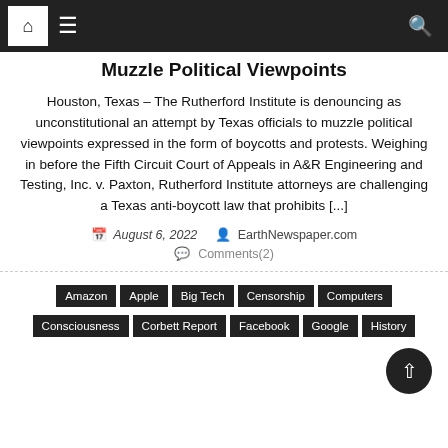Navigation bar with home, menu, and search icons
Muzzle Political Viewpoints
Houston, Texas – The Rutherford Institute is denouncing as unconstitutional an attempt by Texas officials to muzzle political viewpoints expressed in the form of boycotts and protests. Weighing in before the Fifth Circuit Court of Appeals in A&R Engineering and Testing, Inc. v. Paxton, Rutherford Institute attorneys are challenging a Texas anti-boycott law that prohibits [...]
August 6, 2022  EarthNewspaper.com  Comments(2)
Amazon  Apple  Big Tech  Censorship  Computers  Consciousness  Corbett Report  Facebook  Google  History